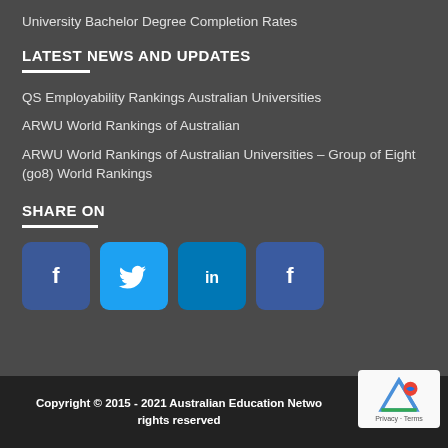University Bachelor Degree Completion Rates
LATEST NEWS AND UPDATES
QS Employability Rankings Australian Universities
ARWU World Rankings of Australian
ARWU World Rankings of Australian Universities – Group of Eight (go8) World Rankings
SHARE ON
[Figure (infographic): Four social media share buttons: Facebook (dark blue), Twitter (light blue), LinkedIn (medium blue), Facebook (dark blue)]
Copyright © 2015 - 2021 Australian Education Netwo rights reserved